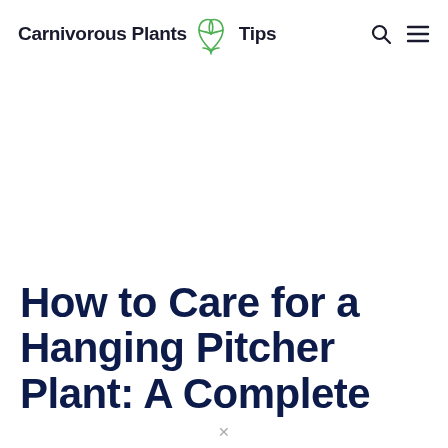Carnivorous Plants Tips
How to Care for a Hanging Pitcher Plant: A Complete